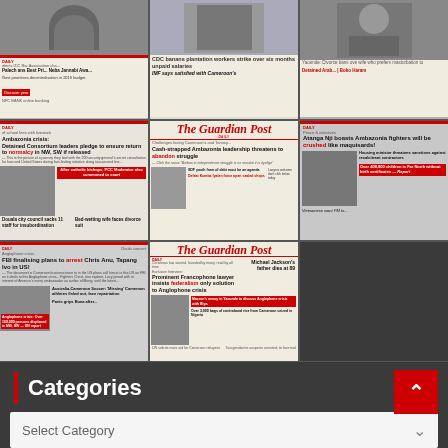[Figure (screenshot): 3x3 grid of Cameroonian newspaper front pages including Daily headlines and The Guardian Post covers with stories about Anglophone crisis, Ambazonia, FBI, and other topics]
Categories
Select Category